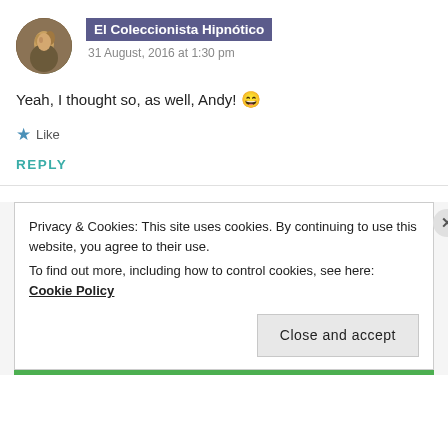[Figure (photo): Circular avatar photo of a person, brownish/natural tones]
El Coleccionista Hipnótico
31 August, 2016 at 1:30 pm
Yeah, I thought so, as well, Andy! 😄
★ Like
REPLY
Privacy & Cookies: This site uses cookies. By continuing to use this website, you agree to their use.
To find out more, including how to control cookies, see here: Cookie Policy
Close and accept